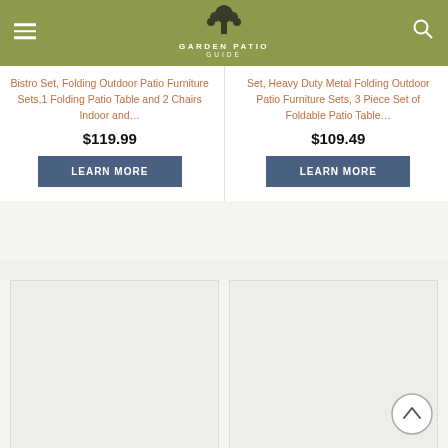Garden Patio Guide
Bistro Set, Folding Outdoor Patio Furniture Sets,1 Folding Patio Table and 2 Chairs Indoor and…
$119.99
LEARN MORE
Set, Heavy Duty Metal Folding Outdoor Patio Furniture Sets, 3 Piece Set of Foldable Patio Table…
$109.49
LEARN MORE
[Figure (photo): Empty product image placeholder box, left]
[Figure (photo): Empty product image placeholder box, right]